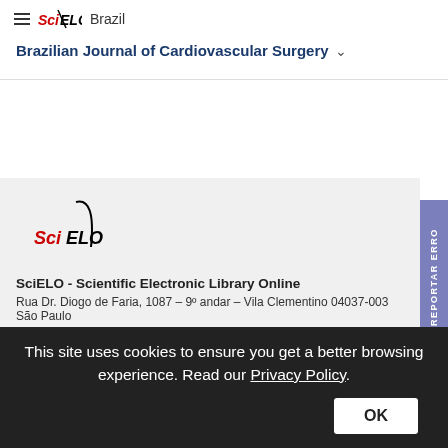SciELO Brazil
Brazilian Journal of Cardiovascular Surgery
[Figure (logo): SciELO logo in footer section]
SciELO - Scientific Electronic Library Online
Rua Dr. Diogo de Faria, 1087 – 9º andar – Vila Clementino 04037-003 São Paulo
E-mail: scielo@scielo.org
[Figure (logo): Sponsor logos: FAPESP, CAPES, CNPq, BVS, WHO, Fundação de Amparo]
This site uses cookies to ensure you get a better browsing experience. Read our Privacy Policy.